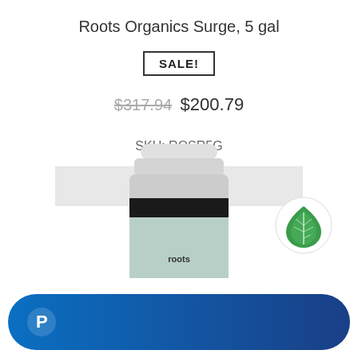Roots Organics Surge, 5 gal
SALE!
$317.94  $200.79
SKU: ROSR5G
Add to cart
[Figure (photo): White bottle of Roots Organics Surge product with black label band and teal/green label area, partially visible]
[Figure (logo): Green leaf/droplet logo in white circle]
[Figure (logo): PayPal blue payment bar with PayPal P logo on dark blue gradient pill-shaped button]